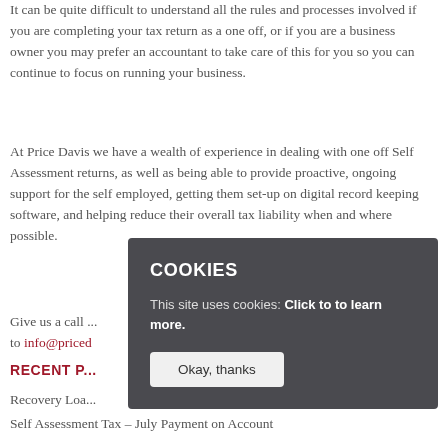It can be quite difficult to understand all the rules and processes involved if you are completing your tax return as a one off, or if you are a business owner you may prefer an accountant to take care of this for you so you can continue to focus on running your business.
At Price Davis we have a wealth of experience in dealing with one off Self Assessment returns, as well as being able to provide proactive, ongoing support for the self employed, getting them set-up on digital record keeping software, and helping reduce their overall tax liability when and where possible.
Give us a call ... to info@price...
RECENT P...
Recovery Loa...
Self Assessment Tax – July Payment on Account
[Figure (screenshot): Cookie consent overlay with dark grey background. Title: COOKIES. Text: This site uses cookies: Click to to learn more. Button: Okay, thanks.]